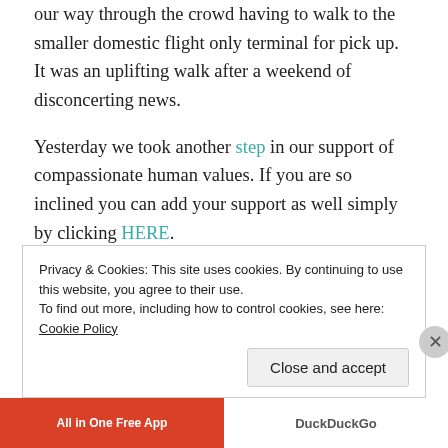our way through the crowd having to walk to the smaller domestic flight only terminal for pick up. It was an uplifting walk after a weekend of disconcerting news.
Yesterday we took another step in our support of compassionate human values. If you are so inclined you can add your support as well simply by clicking HERE.
We are glad to be home safely with our family. We pray for everyone that are separated from families/loved ones and for all those that are displaced from their home/homelands that are simply seeking safe refuge in
Privacy & Cookies: This site uses cookies. By continuing to use this website, you agree to their use.
To find out more, including how to control cookies, see here: Cookie Policy
Close and accept
[Figure (other): Advertisement bar with 'All in One Free App' on red background and DuckDuckGo logo on white background]